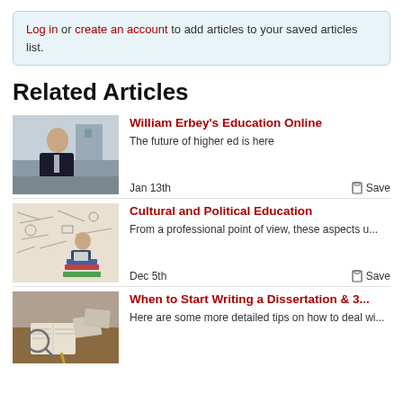Log in or create an account to add articles to your saved articles list.
Related Articles
[Figure (photo): Man in dark suit and glasses standing outdoors]
William Erbey's Education Online
The future of higher ed is here
Jan 13th
Save
[Figure (photo): Person sitting on books in front of a wall covered in diagrams and doodles]
Cultural and Political Education
From a professional point of view, these aspects u...
Dec 5th
Save
[Figure (photo): Books, magnifying glass and papers on a desk]
When to Start Writing a Dissertation & 3...
Here are some more detailed tips on how to deal wi...